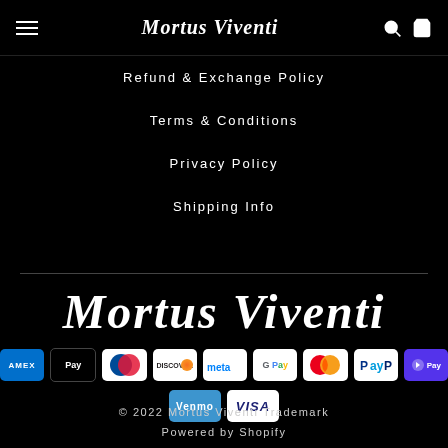Mortus Viventi
Refund & Exchange Policy
Terms & Conditions
Privacy Policy
Shipping Info
[Figure (logo): Mortus Viventi brand logo in large gothic blackletter script]
[Figure (other): Payment method icons: AMEX, Apple Pay, Diners, Discover, Meta Pay, Google Pay, Mastercard, PayPal, Shop Pay, Venmo, Visa]
© 2022 Mortus Viventi Trademark
Powered by Shopify